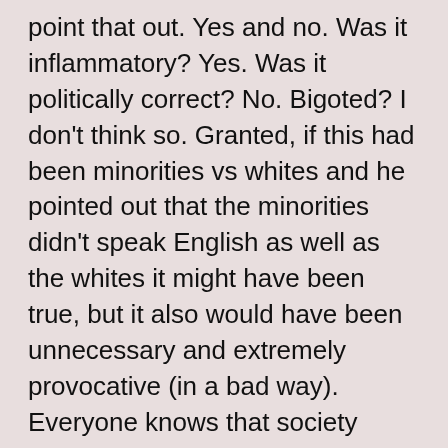point that out. Yes and no. Was it inflammatory? Yes. Was it politically correct? No. Bigoted? I don't think so. Granted, if this had been minorities vs whites and he pointed out that the minorities didn't speak English as well as the whites it might have been true, but it also would have been unnecessary and extremely provocative (in a bad way). Everyone knows that society discriminates against minorities and that many minority groups do not receive the same opportunities for education as majority groups. To say, “hey all the latinos who called in spoke poor